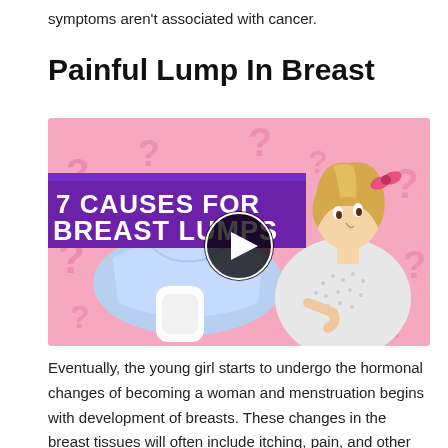symptoms aren't associated with cancer.
Painful Lump In Breast
[Figure (illustration): Video thumbnail with pink background and question marks. Left side shows light blue underwear and a white sanitary pad. Right side shows a woman in a hospital gown touching her chest. Bold white text on purple banner reads '7 CAUSES FOR BREAST LUMPS'. A play button circle is centered in the middle.]
Eventually, the young girl starts to undergo the hormonal changes of becoming a woman and menstruation begins with development of breasts. These changes in the breast tissues will often include itching, pain, and other